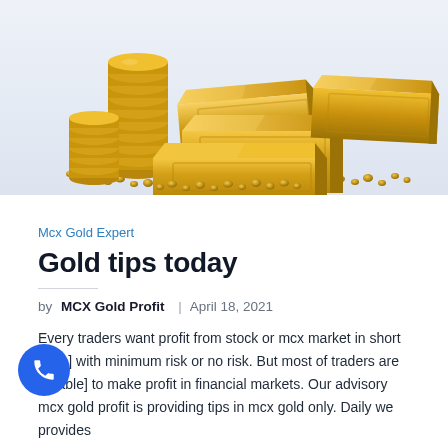[Figure (photo): Gold bullion bars stacked with gold coins scattered around them on a white background]
Mcx Gold Expert
Gold tips today
by MCX Gold Profit | April 18, 2021
Every traders want profit from stock or mcx market in short [time] with minimum risk or no risk. But most of traders are [unable] to make profit in financial markets. Our advisory mcx gold profit is providing tips in mcx gold only. Daily we provides